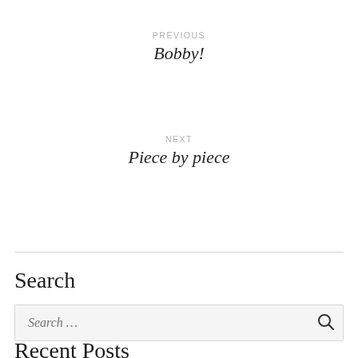PREVIOUS
Bobby!
NEXT
Piece by piece
Search
Search ...
Recent Posts